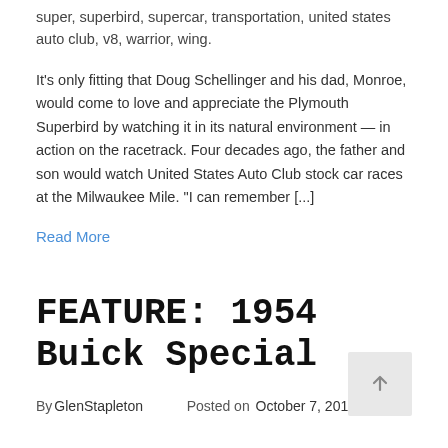super, superbird, supercar, transportation, united states auto club, v8, warrior, wing.
It's only fitting that Doug Schellinger and his dad, Monroe, would come to love and appreciate the Plymouth Superbird by watching it in its natural environment — in action on the racetrack. Four decades ago, the father and son would watch United States Auto Club stock car races at the Milwaukee Mile. “I can remember [...]
Read More
FEATURE: 1954 Buick Special
By GlenStapleton   Posted on October 7, 2012